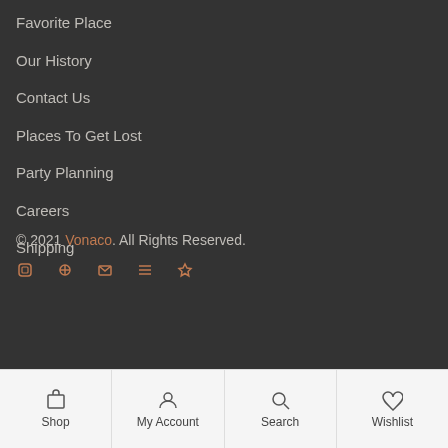Favorite Place
Our History
Contact Us
Places To Get Lost
Party Planning
Careers
Shipping
© 2021 Vonaco. All Rights Reserved.
Shop | My Account | Search | Wishlist